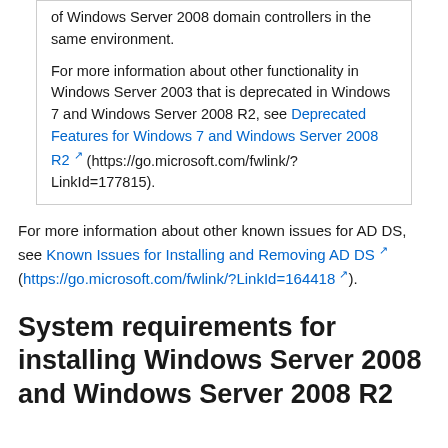of Windows Server 2008 domain controllers in the same environment.

For more information about other functionality in Windows Server 2003 that is deprecated in Windows 7 and Windows Server 2008 R2, see Deprecated Features for Windows 7 and Windows Server 2008 R2 (https://go.microsoft.com/fwlink/?LinkId=177815).
For more information about other known issues for AD DS, see Known Issues for Installing and Removing AD DS (https://go.microsoft.com/fwlink/?LinkId=164418).
System requirements for installing Windows Server 2008 and Windows Server 2008 R2